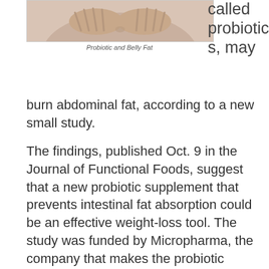[Figure (photo): Photo of a person's midsection/belly area, titled 'Probiotic and Belly Fat']
Probiotic and Belly Fat
called probiotics, may burn abdominal fat, according to a new small study.
The findings, published Oct. 9 in the Journal of Functional Foods, suggest that a new probiotic supplement that prevents intestinal fat absorption could be an effective weight-loss tool. The study was funded by Micropharma, the company that makes the probiotic supplements.
“Normally we digest all the food and absorb all the calories,” said study researcher Peter Jones of the University of Manitoba in Canada. “We think the probiotics interfered with the